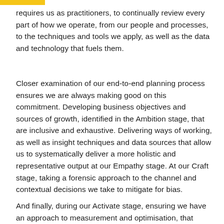requires us as practitioners, to continually review every part of how we operate, from our people and processes, to the techniques and tools we apply, as well as the data and technology that fuels them.
Closer examination of our end-to-end planning process ensures we are always making good on this commitment. Developing business objectives and sources of growth, identified in the Ambition stage, that are inclusive and exhaustive. Delivering ways of working, as well as insight techniques and data sources that allow us to systematically deliver a more holistic and representative output at our Empathy stage. At our Craft stage, taking a forensic approach to the channel and contextual decisions we take to mitigate for bias.
And finally, during our Activate stage, ensuring we have an approach to measurement and optimisation, that